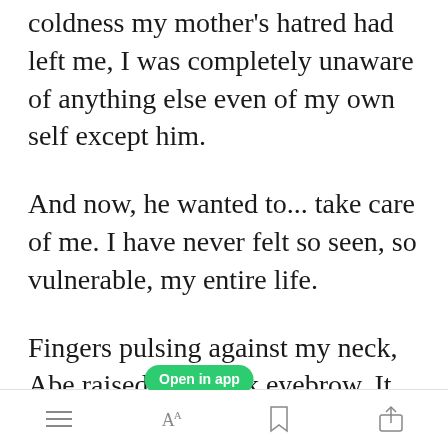coldness my mother's hatred had left me, I was completely unaware of anything else even of my own self except him.
And now, he wanted to... take care of me. I have never felt so seen, so vulnerable, my entire life.
Fingers pulsing against my neck, Abe raised one thick eyebrow. It brushed against the lock of dark
[Figure (screenshot): Green 'Open in app' pill button overlaid on text]
Toolbar with menu, font size (AA), bookmark, and share icons